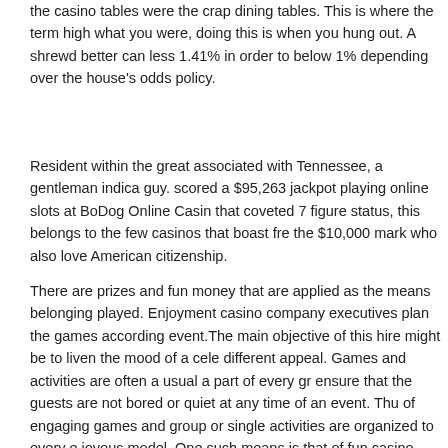the casino tables were the crap dining tables. This is where the term high what you were, doing this is when you hung out. A shrewd better can less 1.41% in order to below 1% depending over the house's odds policy.
Resident within the great associated with Tennessee, a gentleman indica guy. scored a $95,263 jackpot playing online slots at BoDog Online Casin that coveted 7 figure status, this belongs to the few casinos that boast fre the $10,000 mark who also love American citizenship.
There are prizes and fun money that are applied as the means belonging played. Enjoyment casino company executives plan the games according event.The main objective of this hire might be to liven the mood of a cele different appeal. Games and activities are often a usual a part of every gr ensure that the guests are not bored or quiet at any time of an event. Thu of engaging games and group or single activities are organized to every e joyous model. One such means is that of fun casino events that is very o a wide associated with games with this increasing bound to pique interes
Just holds true ! small profits, even low improvements of 20 percent a we 000 over pa. It's all over the method, not the numbers, stick in regards to low.
If in singapore online casino to a new online gambler then an Online casi informal but effective teacher. You'll be able to get information, tips and d